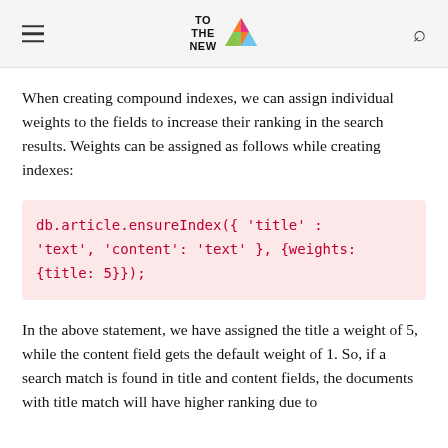TO THE NEW
When creating compound indexes, we can assign individual weights to the fields to increase their ranking in the search results. Weights can be assigned as follows while creating indexes:
db.article.ensureIndex({ 'title' : 'text', 'content': 'text' }, {weights: {title: 5}});
In the above statement, we have assigned the title a weight of 5, while the content field gets the default weight of 1. So, if a search match is found in title and content fields, the documents with title match will have higher ranking due to